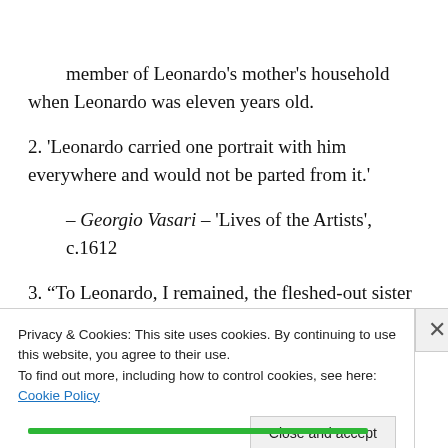member of Leonardo's mother's household when Leonardo was eleven years old.
2. 'Leonardo carried one portrait with him everywhere and would not be parted from it.'
– Georgio Vasari – 'Lives of the Artists', c.1612
3. “To Leonardo, I remained, the fleshed-out sister of his
Privacy & Cookies: This site uses cookies. By continuing to use this website, you agree to their use.
To find out more, including how to control cookies, see here: Cookie Policy
Close and accept